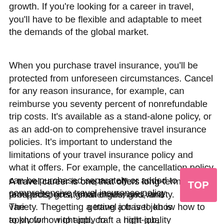growth. If you're looking for a career in travel, you'll have to be flexible and adaptable to meet the demands of the global market.
When you purchase travel insurance, you'll be protected from unforeseen circumstances. Cancel for any reason insurance, for example, can reimburse you seventy percent of nonrefundable trip costs. It's available as a stand-alone policy, or as an add-on to comprehensive travel insurance policies. It's important to understand the limitations of your travel insurance policy and what it offers. For example, the cancellation policy can be purchased separately or added to a comprehensive travel insurance policy.
A travel career is one that offers long-term prospects, great challenges, and variety. The best way to getting a travel job is to know how to apply for the right job, craft a high-quality application, and